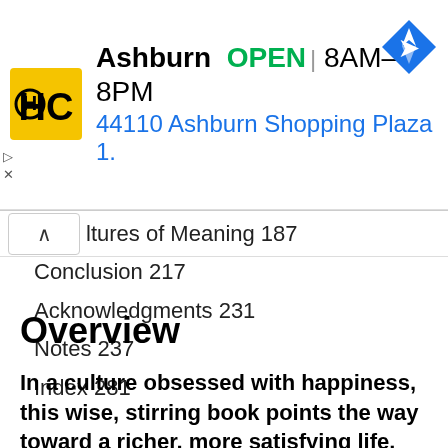[Figure (infographic): HC (HarperCollins) store advertisement banner showing yellow logo with HC letters, store name Ashburn, OPEN status in green, hours 8AM-8PM, address 44110 Ashburn Shopping Plaza 1., and a blue navigation diamond icon.]
ltures of Meaning 187
Conclusion 217
Acknowledgments 231
Notes 237
Index 281
Overview
In a culture obsessed with happiness, this wise, stirring book points the way toward a richer, more satisfying life.